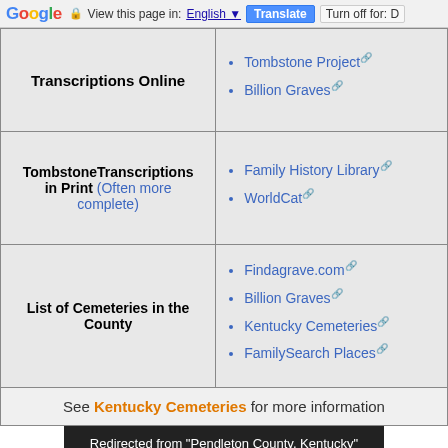Google — View this page in: English | Translate | Turn off for: D
| Category | Resources |
| --- | --- |
| Transcriptions Online | Tombstone Project
Billion Graves |
| TombstoneTranscriptions in Print (Often more complete) | Family History Library
WorldCat |
| List of Cemeteries in the County | Findagrave.com
Billion Graves
Kentucky Cemeteries
FamilySearch Places |
| See Kentucky Cemeteries for more information |  |
Redirected from "Pendleton County, Kentucky"
The ... Pendleton county cemeteries.